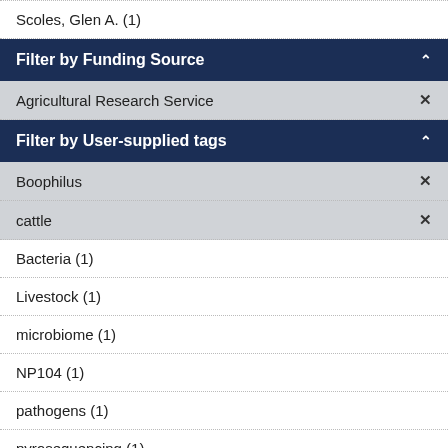Scoles, Glen A. (1)
Filter by Funding Source
Agricultural Research Service
Filter by User-supplied tags
Boophilus
cattle
Bacteria (1)
Livestock (1)
microbiome (1)
NP104 (1)
pathogens (1)
pyrosequencing (1)
R... (1)